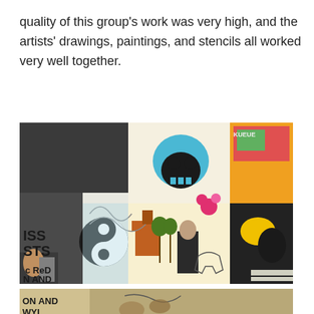quality of this group's work was very high, and the artists' drawings, paintings, and stencils all worked very well together.
[Figure (photo): A colorful mural/graffiti wall covered in mixed-media artwork including drawings, paintings, and stencils. A person's hand holding a spray can is visible in the lower left. The wall is filled with diverse images including skulls, figures, animals, and abstract designs in various colors.]
[Figure (photo): Partial view of another image at the bottom of the page showing artwork and text partially visible.]